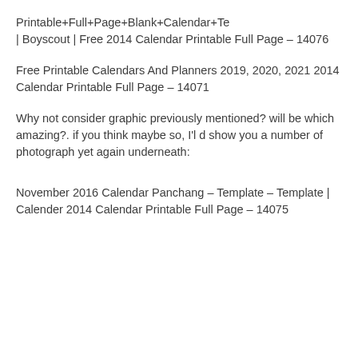Printable+Full+Page+Blank+Calendar+Te | Boyscout | Free 2014 Calendar Printable Full Page – 14076
Free Printable Calendars And Planners 2019, 2020, 2021 2014 Calendar Printable Full Page – 14071
Why not consider graphic previously mentioned? will be which amazing?. if you think maybe so, I'l d show you a number of photograph yet again underneath:
November 2016 Calendar Panchang – Template – Template | Calender 2014 Calendar Printable Full Page – 14075